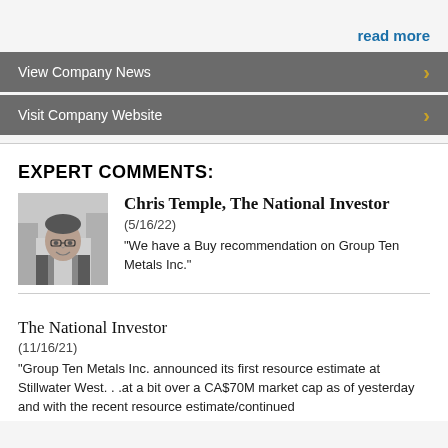read more
View Company News
Visit Company Website
EXPERT COMMENTS:
[Figure (photo): Black and white headshot photo of Chris Temple, a middle-aged man wearing glasses and a blazer]
Chris Temple, The National Investor
(5/16/22)
"We have a Buy recommendation on Group Ten Metals Inc."
The National Investor
(11/16/21)
"Group Ten Metals Inc. announced its first resource estimate at Stillwater West. . .at a bit over a CA$70M market cap as of yesterday and with the recent resource estimate/continued